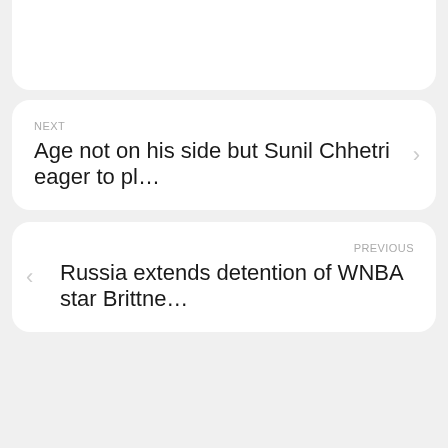NEXT
Age not on his side but Sunil Chhetri eager to pl…
PREVIOUS
Russia extends detention of WNBA star Brittne…